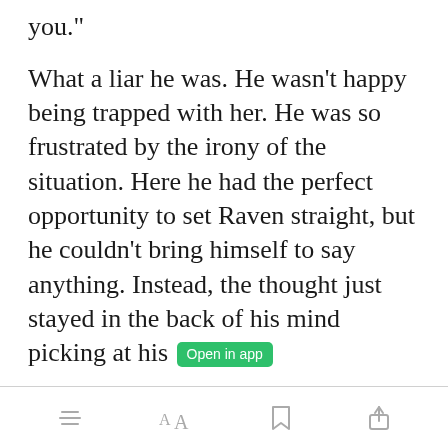you."
What a liar he was. He wasn't happy being trapped with her. He was so frustrated by the irony of the situation. Here he had the perfect opportunity to set Raven straight, but he couldn't bring himself to say anything. Instead, the thought just stayed in the back of his mind picking at his [Open in app]
[toolbar icons: menu, font size (AA), bookmark, share]